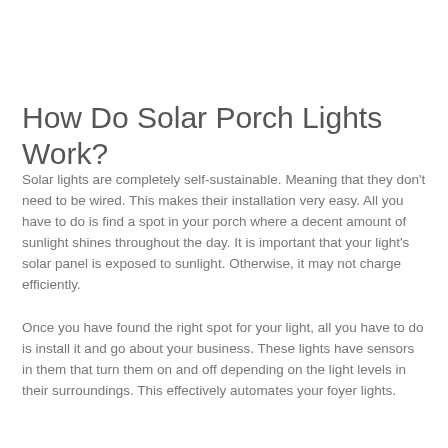How Do Solar Porch Lights Work?
Solar lights are completely self-sustainable. Meaning that they don't need to be wired. This makes their installation very easy. All you have to do is find a spot in your porch where a decent amount of sunlight shines throughout the day. It is important that your light's solar panel is exposed to sunlight. Otherwise, it may not charge efficiently.
Once you have found the right spot for your light, all you have to do is install it and go about your business. These lights have sensors in them that turn them on and off depending on the light levels in their surroundings. This effectively automates your foyer lights.